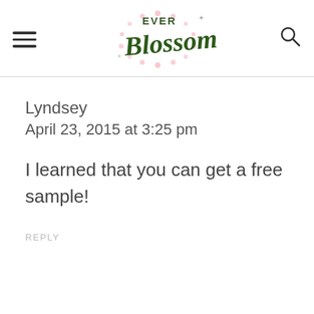Ever Blossom (logo)
Lyndsey
April 23, 2015 at 3:25 pm
I learned that you can get a free sample!
REPLY